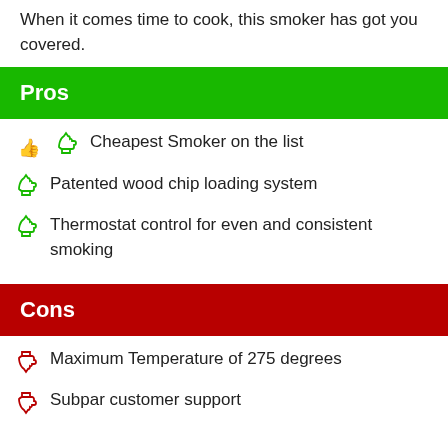When it comes time to cook, this smoker has got you covered.
Pros
Cheapest Smoker on the list
Patented wood chip loading system
Thermostat control for even and consistent smoking
Cons
Maximum Temperature of 275 degrees
Subpar customer support